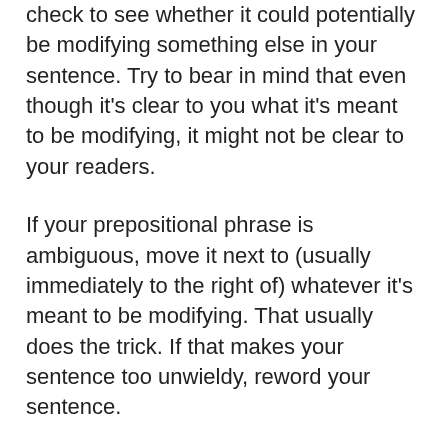check to see whether it could potentially be modifying something else in your sentence. Try to bear in mind that even though it's clear to you what it's meant to be modifying, it might not be clear to your readers.
If your prepositional phrase is ambiguous, move it next to (usually immediately to the right of) whatever it's meant to be modifying. That usually does the trick. If that makes your sentence too unwieldy, reword your sentence.
These examples have been fixed by moving the prepositional phrase: